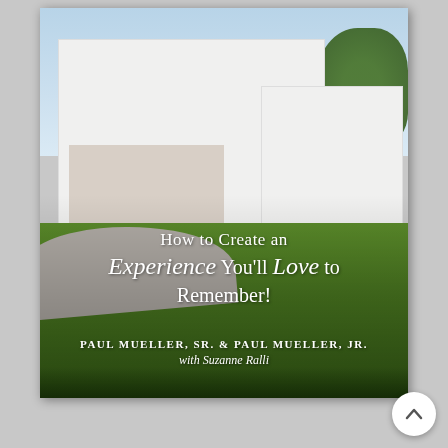[Figure (photo): Book cover showing a large white colonial-style farmhouse with dark roof, dormer windows, covered front porch with red brick steps, gravel circular driveway, and lush green lawn. Blue sky with trees in background.]
How to Create an Experience You'll Love to Remember!
Paul Mueller, Sr. & Paul Mueller, Jr. with Suzanne Ralli